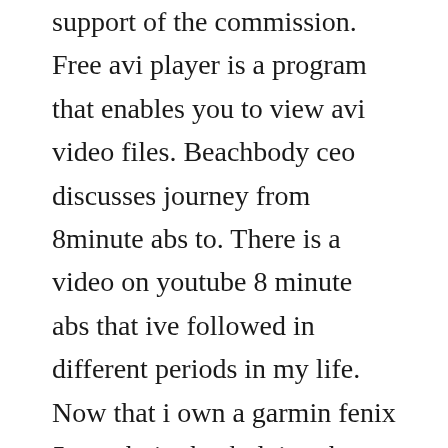support of the commission. Free avi player is a program that enables you to view avi video files. Beachbody ceo discusses journey from 8minute abs to. There is a video on youtube 8 minute abs that ive followed in different periods in my life. Now that i own a garmin fenix 5 watch, im back doing these exercises i got this idea of implementing a simple application on my watch to follow along these exercises in a more easier way. Ive been using the 8 minutes abs workout for many years and it is simply the best ab workout ive ever done and gave me results after two weeks. Apr 12,